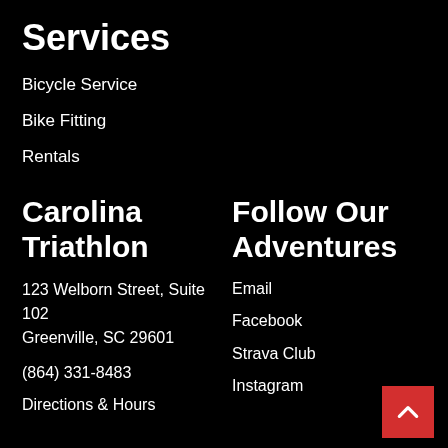Services
Bicycle Service
Bike Fitting
Rentals
Carolina Triathlon
123 Welborn Street, Suite 102
Greenville, SC 29601
(864) 331-8483
Directions & Hours
Follow Our Adventures
Email
Facebook
Strava Club
Instagram